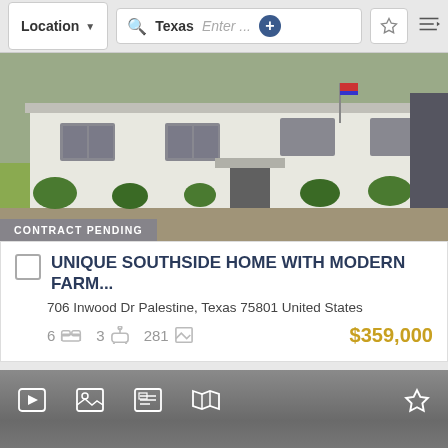[Figure (screenshot): Real estate listing app screenshot showing navigation bar with Location dropdown, Texas search field, star and sort buttons]
[Figure (photo): Photo of a single-story white house with green lawn, shrubs, and a covered porch]
CONTRACT PENDING
UNIQUE SOUTHSIDE HOME WITH MODERN FARM...
706 Inwood Dr Palestine, Texas 75801 United States
6  3  281  $359,000
[Figure (screenshot): Bottom toolbar with video, photos, details, map icons and a star/favorite button]